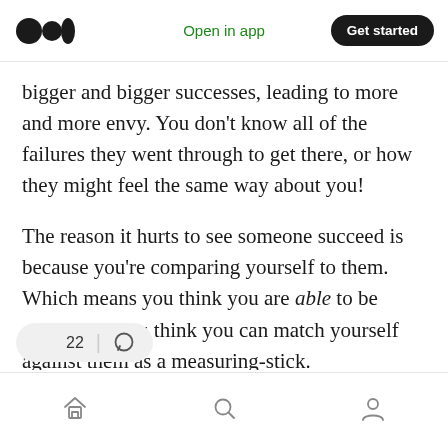Medium logo | Open in app | Get started
bigger and bigger successes, leading to more and more envy. You don’t know all of the failures they went through to get there, or how they might feel the same way about you!
The reason it hurts to see someone succeed is because you’re comparing yourself to them. Which means you think you are able to be compared. You think you can match yourself against them as a measuring-stick.
But you aren’t, ar
Home | Search | Profile